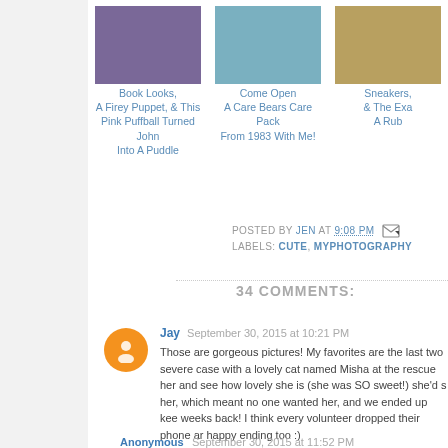[Figure (photo): Thumbnail image 1: illustrated book/puppet themed image]
Book Looks, A Firey Puppet, & This Pink Puffball Turned John Into A Puddle
[Figure (photo): Thumbnail image 2: Care Bears toys from 1983]
Come Open A Care Bears Care Pack From 1983 With Me!
[Figure (photo): Thumbnail image 3: Sneakers related image, partially visible]
Sneakers, & The Exa... A Rub...
POSTED BY JEN AT 9:08 PM [email icon] LABELS: CUTE, MYPHOTOGRAPHY
34 COMMENTS:
Jay September 30, 2015 at 10:21 PM
Those are gorgeous pictures! My favorites are the last two severe case with a lovely cat named Misha at the rescue her and see how lovely she is (she was SO sweet!) she'd s her, which meant no one wanted her, and we ended up kee weeks back! I think every volunteer dropped their phone ar happy ending too :)
Reply
Anonymous September 30, 2015 at 11:52 PM